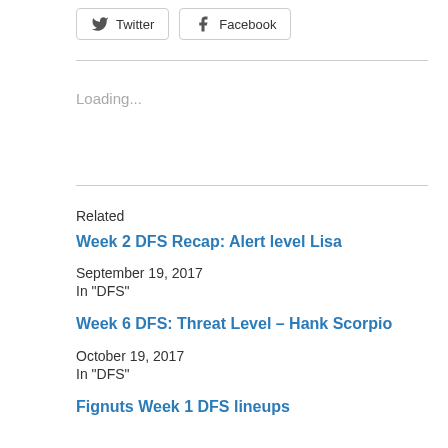Twitter
Facebook
Loading...
Related
Week 2 DFS Recap: Alert level Lisa
September 19, 2017
In "DFS"
Week 6 DFS: Threat Level – Hank Scorpio
October 19, 2017
In "DFS"
Fignuts Week 1 DFS lineups